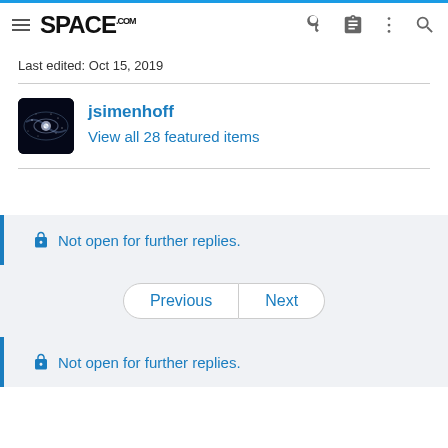SPACE.com
Last edited: Oct 15, 2019
jsimenhoff
View all 28 featured items
Not open for further replies.
Previous | Next
Not open for further replies.